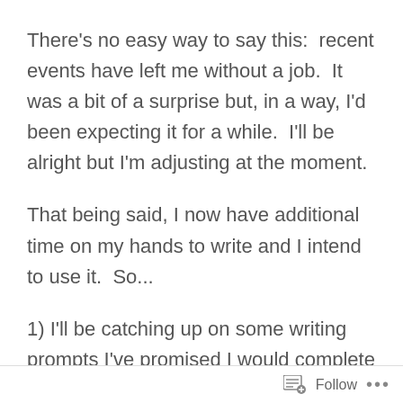There's no easy way to say this:  recent events have left me without a job.  It was a bit of a surprise but, in a way, I'd been expecting it for a while.  I'll be alright but I'm adjusting at the moment.
That being said, I now have additional time on my hands to write and I intend to use it.  So...
1) I'll be catching up on some writing prompts I've promised I would complete (I didn't forget Andrea)
Follow ...